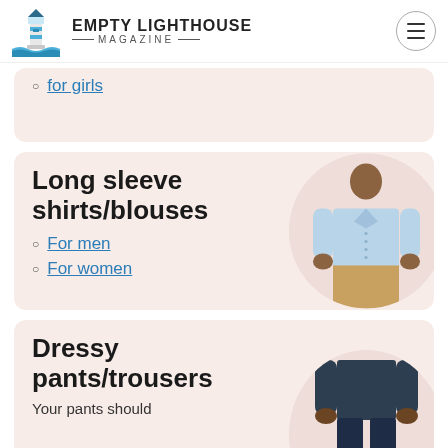EMPTY LIGHTHOUSE MAGAZINE
for girls
Long sleeve shirts/blouses
For men
For women
[Figure (photo): Man wearing a light blue long sleeve button-down shirt with khaki pants]
Dressy pants/trousers
Your pants should
[Figure (photo): Person wearing navy blue dressy trousers with dark shoes]